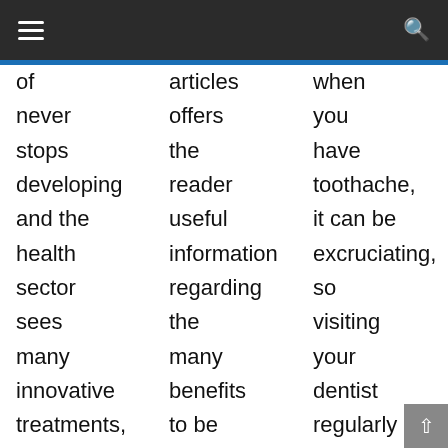☰  🔍
of never stops developing and the health sector sees many innovative treatments, including Eye Movement Desensitisation and
articles offers the reader useful information regarding the many benefits to be gained from practicing the ancient
when you have toothache, it can be excruciating, so visiting your dentist regularly can help prevent you from having